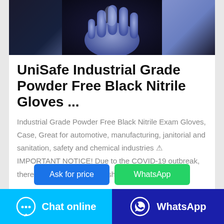[Figure (photo): Photo of blue/purple nitrile gloves against dark background]
UniSafe Industrial Grade Powder Free Black Nitrile Gloves ...
Industrial Grade Powder Free Black Nitrile Exam Gloves, Case, Great for automotive, manufacturing, janitorial and sanitation, safety and chemical industries ⚠ IMPORTANT NOTICE! Due to the COVID-19 outbreak, there's a severe worldwide shortage of gloves. …
Ask for price
WhatsApp
Chat online
WhatsApp